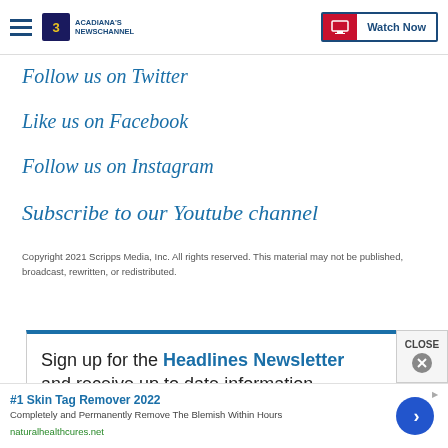Acadiana's Newschannel | Watch Now
Follow us on Twitter
Like us on Facebook
Follow us on Instagram
Subscribe to our Youtube channel
Copyright 2021 Scripps Media, Inc. All rights reserved. This material may not be published, broadcast, rewritten, or redistributed.
Sign up for the Headlines Newsletter and receive up to date information.
#1 Skin Tag Remover 2022
Completely and Permanently Remove The Blemish Within Hours
naturalhealthcures.net